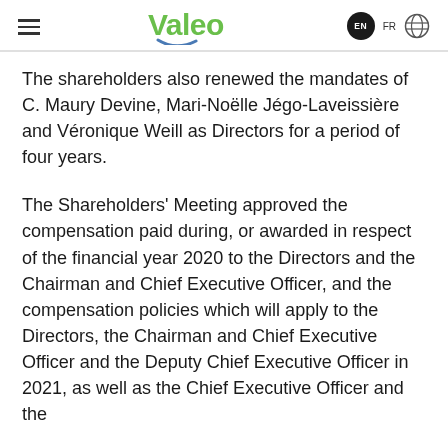Valeo EN FR
The shareholders also renewed the mandates of C. Maury Devine, Mari-Noëlle Jégo-Laveissière and Véronique Weill as Directors for a period of four years.
The Shareholders' Meeting approved the compensation paid during, or awarded in respect of the financial year 2020 to the Directors and the Chairman and Chief Executive Officer, and the compensation policies which will apply to the Directors, the Chairman and Chief Executive Officer and the Deputy Chief Executive Officer in 2021, as well as the Chief Executive Officer and the…